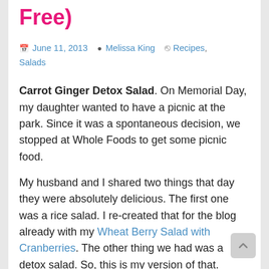Free)
June 11, 2013  Melissa King  Recipes, Salads
Carrot Ginger Detox Salad.  On Memorial Day, my daughter wanted to have a picnic at the park.  Since it was a spontaneous decision, we stopped at Whole Foods to get some picnic food.

My husband and I shared two things that day they were absolutely delicious.  The first one was a rice salad.  I re-created that for the blog already with my Wheat Berry Salad with Cranberries.  The other thing we had was a detox salad.  So, this is my version of that.